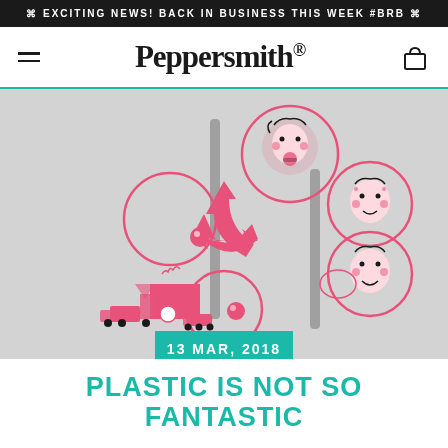⌘ EXCITING NEWS! BACK IN BUSINESS THIS WEEK #BRB ⌘
[Figure (logo): Peppersmith brand logo with hamburger menu and shopping bag icon]
[Figure (infographic): Recycling infographic showing cartoon faces of people chewing gum, recycling symbols, factory, and vehicles, with text 'Give Gum A Second Life'. Date badge: 13 MAR, 2018]
PLASTIC IS NOT SO FANTASTIC